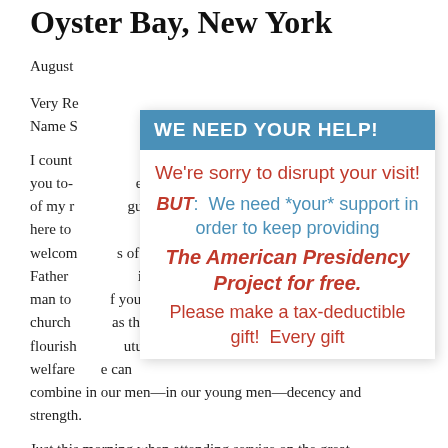Oyster Bay, New York
August
Very Re... oly Name S...
I count... word to you to- ...behalf of my r... guests here to... welcom... of Father ...irst man to... f your church ...as this flourish... future welfare... e can combine in our men—in our young men—decency and strength.
[Figure (infographic): Overlay popup with blue header 'WE NEED YOUR HELP!' and red/blue text asking for donations to The American Presidency Project]
Just this morning when attending service on the great...